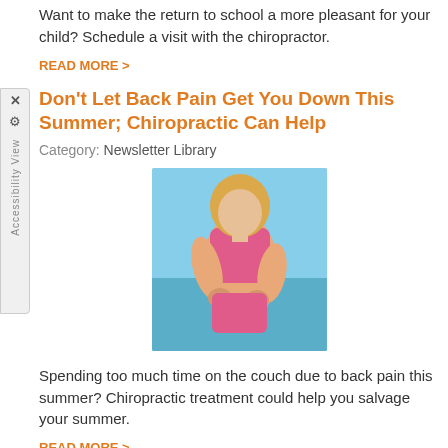Want to make the return to school a more pleasant for your child? Schedule a visit with the chiropractor.
READ MORE >
Don't Let Back Pain Get You Down This Summer; Chiropractic Can Help
Category: Newsletter Library
[Figure (photo): Woman in pink athletic wear holding her lower back, beach/ocean in background]
Spending too much time on the couch due to back pain this summer? Chiropractic treatment could help you salvage your summer.
READ MORE >